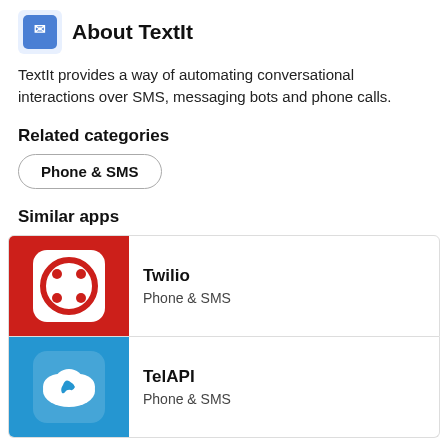[Figure (logo): TextIt app icon - blue speech bubble logo]
About TextIt
TextIt provides a way of automating conversational interactions over SMS, messaging bots and phone calls.
Related categories
Phone & SMS
Similar apps
[Figure (logo): Twilio app icon - red background with white rounded square and red button icon]
Twilio
Phone & SMS
[Figure (logo): TelAPI app icon - blue background with white cloud and phone icon]
TelAPI
Phone & SMS